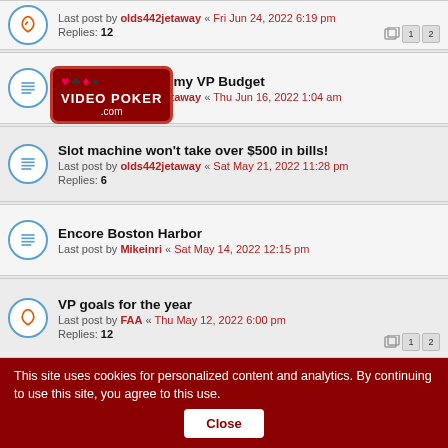Last post by olds442jetaway « Fri Jun 24, 2022 6:19 pm
Replies: 12
The Market Killed my VP Budget
Last post by olds442jetaway « Thu Jun 16, 2022 1:04 am
[Figure (logo): Video Poker .com logo with card suits]
Slot machine won't take over $500 in bills!
Last post by olds442jetaway « Sat May 21, 2022 11:28 pm
Replies: 6
Encore Boston Harbor
Last post by Mikeinri « Sat May 14, 2022 12:15 pm
VP goals for the year
Last post by FAA « Thu May 12, 2022 6:00 pm
Replies: 12
double or nothing?
Last post by stevel96a1 « Sat May 07, 2022 1:13 pm
Replies: 21
This site uses cookies for personalized content and analytics. By continuing to use this site, you agree to this use. Close